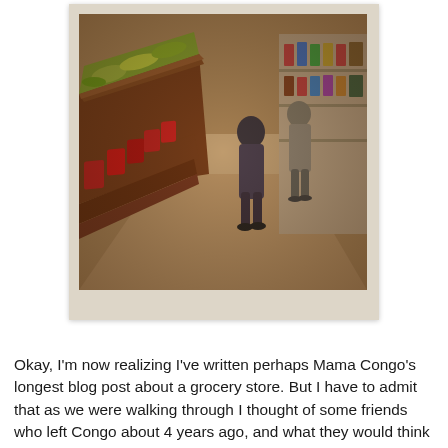[Figure (photo): Polaroid-style photo of a grocery store interior aisle. Wooden produce display shelves with green and yellow produce on the left, red packaged goods below. Two people walking away in the background near store shelving. Warm, slightly blurred, vintage-filtered image.]
Okay, I'm now realizing I've written perhaps Mama Congo's longest blog post about a grocery store. But I have to admit that as we were walking through I thought of some friends who left Congo about 4 years ago, and what they would think of the city now. And then I teared up a little when I saw an entire aisle of baby gear. Is change on the horizon in Kinshasa? We're cautiously optimistic. There's a rumor that the prices will rise after May 6. This makes us...